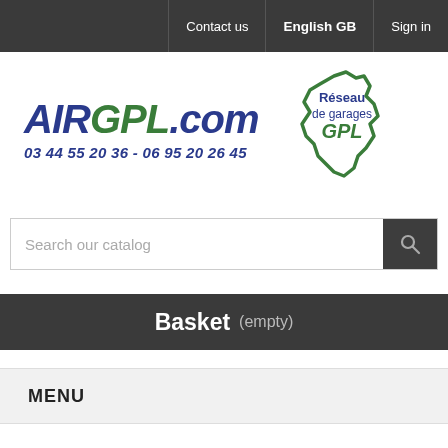Contact us   English GB   Sign in
[Figure (logo): AIRGPL.com logo with phone numbers 03 44 55 20 36 - 06 95 20 26 45 and Réseau de garages GPL network map icon]
Search our catalog
Basket (empty)
MENU